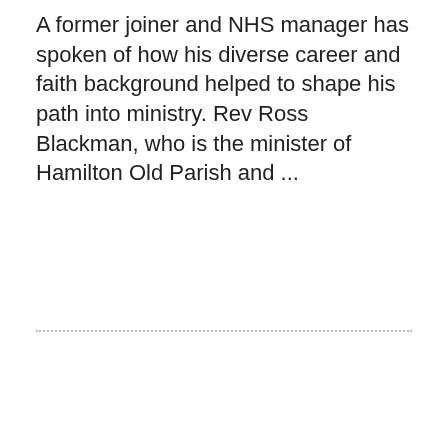A former joiner and NHS manager has spoken of how his diverse career and faith background helped to shape his path into ministry. Rev Ross Blackman, who is the minister of Hamilton Old Parish and ...
[Figure (photo): A dark overlay cookie consent dialog over a photo background with green foliage. Contains title 'Cookies', explanatory text, a green 'Yes, use recommended settings' button, and a 'No, take me to settings' link with gear icon.]